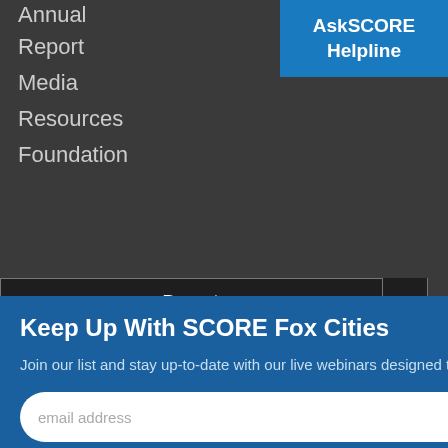Annual
Report
Media
Resources
Foundation
AskSCORE Helpline
Donate
Keep Up With SCORE Fox Cities
Join our list and stay up-to-date with our live webinars designed to help you start and grow a successful business.
email address
SUBMIT
.org
Funded, in part, through a Cooperative Agreement with the U.S. Small Business Administration. All